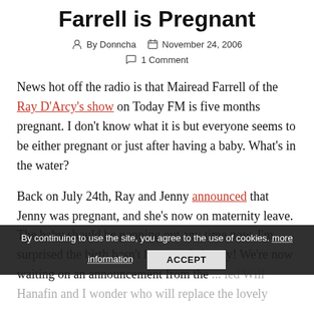Farrell is Pregnant
By Donncha   November 24, 2006   1 Comment
News hot off the radio is that Mairead Farrell of the Ray D'Arcy's show on Today FM is five months pregnant. I don't know what it is but everyone seems to be either pregnant or just after having a baby. What's in the water?
Back on July 24th, Ray and Jenny announced that Jenny was pregnant, and she's now on maternity leave. The baby should be popping out any time now. I'm surprised the birth hasn't happened already! We're now waiting on an announcement from the ... ied Will Hanafin and I wonder who will replace the lovely Mairead when she's out on leave?
By continuing to use the site, you agree to the use of cookies. more information  ACCEPT